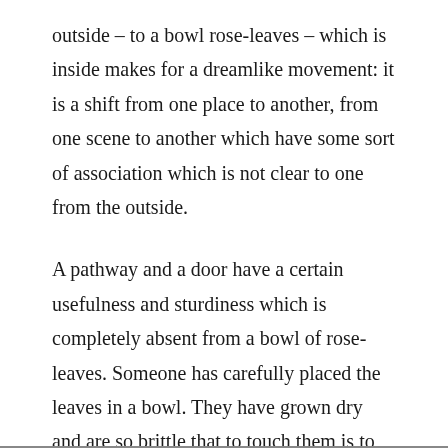outside – to a bowl rose-leaves – which is inside makes for a dreamlike movement: it is a shift from one place to another, from one scene to another which have some sort of association which is not clear to one from the outside.
A pathway and a door have a certain usefulness and sturdiness which is completely absent from a bowl of rose-leaves. Someone has carefully placed the leaves in a bowl. They have grown dry and are so brittle that to touch them is to break them.